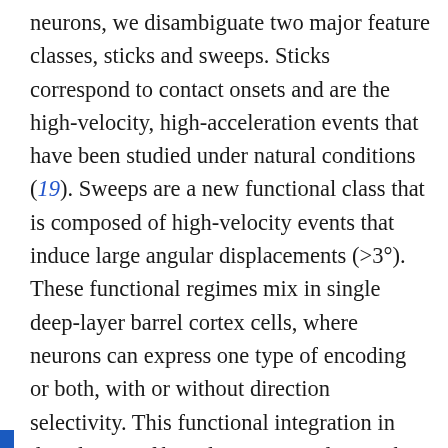neurons, we disambiguate two major feature classes, sticks and sweeps. Sticks correspond to contact onsets and are the high-velocity, high-acceleration events that have been studied under natural conditions (19). Sweeps are a new functional class that is composed of high-velocity events that induce large angular displacements (>3°). These functional regimes mix in single deep-layer barrel cortex cells, where neurons can express one type of encoding or both, with or without direction selectivity. This functional integration in deep layers of barrel cortex is in line with what has been found in primary visual cortex, where parallel information streams that are segregated at the periphery come together in single deep-layer cortical neurons (30). These results establish a unified computational framework drawing on many different experimental approaches and